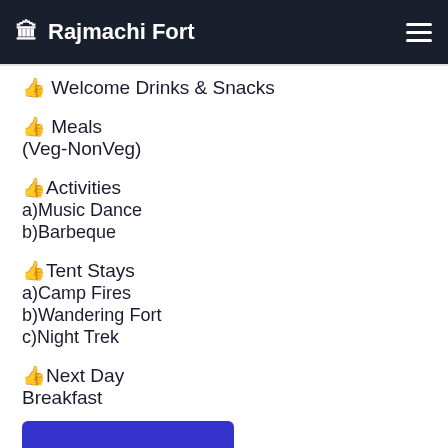Rajmachi Fort
Welcome Drinks & Snacks
Meals (Veg-NonVeg)
Activities a)Music Dance b)Barbeque
Tent Stays a)Camp Fires b)Wandering Fort c)Night Trek
Next Day Breakfast